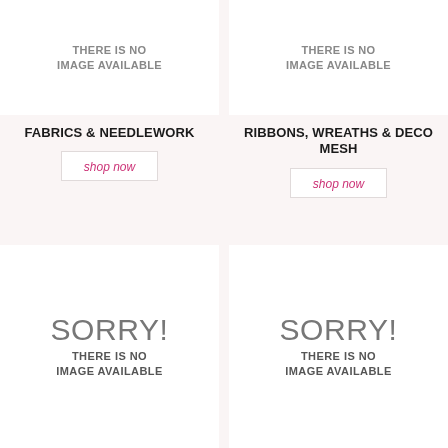[Figure (illustration): Placeholder image top-left: THERE IS NO IMAGE AVAILABLE]
[Figure (illustration): Placeholder image top-right: THERE IS NO IMAGE AVAILABLE]
FABRICS & NEEDLEWORK
shop now
RIBBONS, WREATHS & DECO MESH
shop now
[Figure (illustration): Sorry placeholder bottom-left: SORRY! THERE IS NO IMAGE AVAILABLE]
[Figure (illustration): Sorry placeholder bottom-right: SORRY! THERE IS NO IMAGE AVAILABLE]